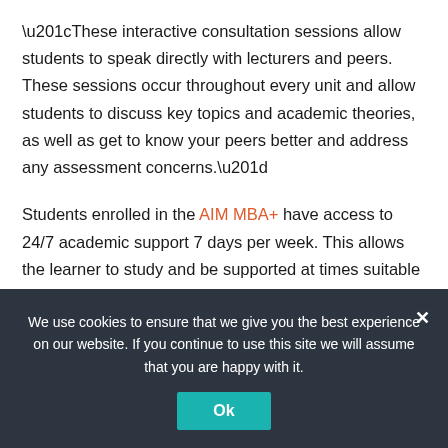“These interactive consultation sessions allow students to speak directly with lecturers and peers. These sessions occur throughout every unit and allow students to discuss key topics and academic theories, as well as get to know your peers better and address any assessment concerns.”
Students enrolled in the AIM MBA+ have access to 24/7 academic support 7 days per week. This allows the learner to study and be supported at times suitable for their needs and enables them to study to change their life instead of changing their life to study
We use cookies to ensure that we give you the best experience on our website. If you continue to use this site we will assume that you are happy with it.